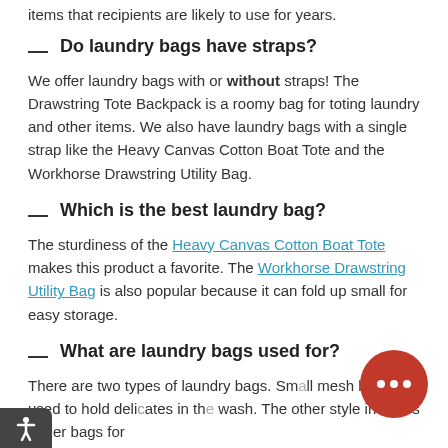items that recipients are likely to use for years.
Do laundry bags have straps?
We offer laundry bags with or without straps! The Drawstring Tote Backpack is a roomy bag for toting laundry and other items. We also have laundry bags with a single strap like the Heavy Canvas Cotton Boat Tote and the Workhorse Drawstring Utility Bag.
Which is the best laundry bag?
The sturdiness of the Heavy Canvas Cotton Boat Tote makes this product a favorite. The Workhorse Drawstring Utility Bag is also popular because it can fold up small for easy storage.
What are laundry bags used for?
There are two types of laundry bags. Small mesh bags are used to hold delicates in the wash. The other style includes larger bags for